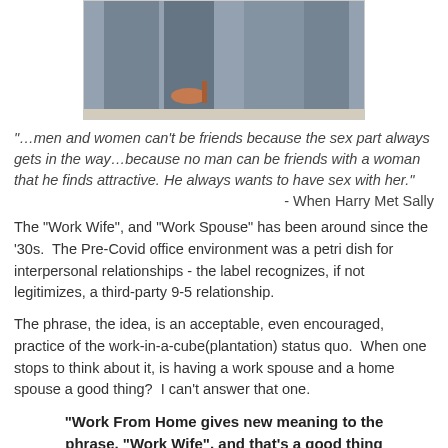[Figure (photo): Cropped photo showing lower legs/feet of two people in an office or seated setting, one wearing high heels]
“…men and women can’t be friends because the sex part always gets in the way…because no man can be friends with a woman that he finds attractive. He always wants to have sex with her.”
- When Harry Met Sally
The "Work Wife", and "Work Spouse" has been around since the ’30s. The Pre-Covid office environment was a petri dish for interpersonal relationships - the label recognizes, if not legitimizes, a third-party 9-5 relationship.
The phrase, the idea, is an acceptable, even encouraged, practice of the work-in-a-cube(plantation) status quo. When one stops to think about it, is having a work spouse and a home spouse a good thing? I can’t answer that one.
"Work From Home gives new meaning to the phrase, "Work Wife", and that’s a good thing